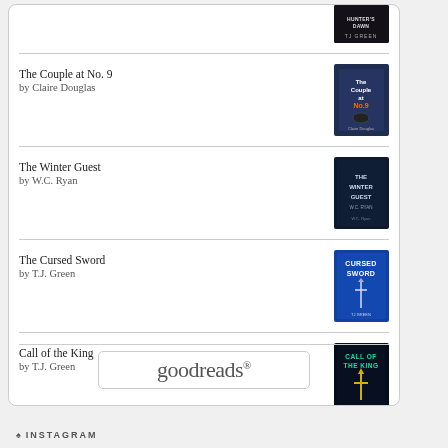[Figure (illustration): Hunter's Dawn book cover by TJ Green - dark cover at top]
The Couple at No. 9
by Claire Douglas
[Figure (illustration): The Couple at No. 9 book cover by Claire Douglas]
The Winter Guest
by W.C. Ryan
[Figure (illustration): The Winter Guest book cover by W.C. Ryan]
The Cursed Sword
by T.J. Green
[Figure (illustration): The Cursed Sword book cover by T.J. Green]
Call of the King
by T.J. Green
[Figure (illustration): Call of the King book cover by T.J. Green]
[Figure (logo): goodreads logo button]
INSTAGRAM